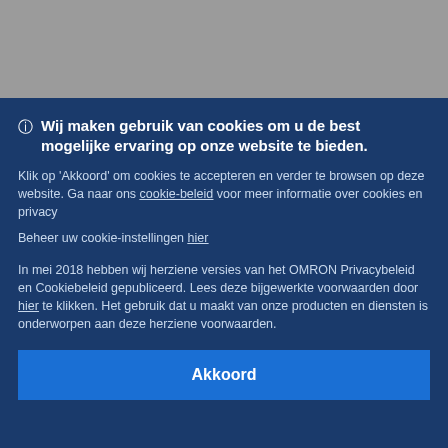[Figure (screenshot): Gray background area at top of page representing a blurred/obscured webpage behind the cookie consent overlay]
Wij maken gebruik van cookies om u de best mogelijke ervaring op onze website te bieden.
Klik op 'Akkoord' om cookies te accepteren en verder te browsen op deze website. Ga naar ons cookie-beleid voor meer informatie over cookies en privacy
Beheer uw cookie-instellingen hier
In mei 2018 hebben wij herziene versies van het OMRON Privacybeleid en Cookiebeleid gepubliceerd. Lees deze bijgewerkte voorwaarden door hier te klikken. Het gebruik dat u maakt van onze producten en diensten is onderworpen aan deze herziene voorwaarden.
Akkoord